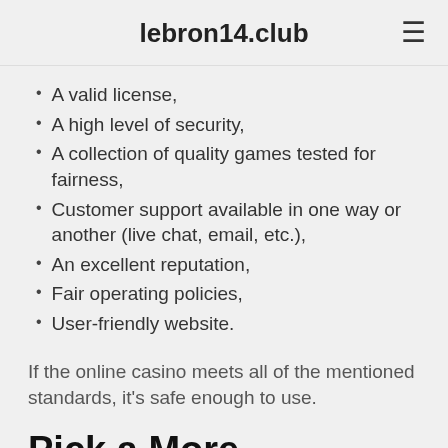lebron14.club
A valid license,
A high level of security,
A collection of quality games tested for fairness,
Customer support available in one way or another (live chat, email, etc.),
An excellent reputation,
Fair operating policies,
User-friendly website.
If the online casino meets all of the mentioned standards, it's safe enough to use.
Pick a More Rewarding Slot Game